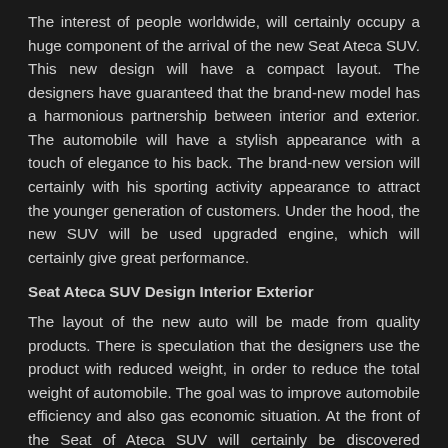The interest of people worldwide, will certainly occupy a huge component of the arrival of the new Seat Ateca SUV. This new design will have a compact layout. The designers have guaranteed that the brand-new model has a harmonious partnership between interior and exterior. The automobile will have a stylish appearance with a touch of elegance to his back. The brand-new version will certainly with his sporting activity appearance to attract the younger generation of customers. Under the hood, the new SUV will be used upgraded engine, which will certainly give great performance.
Seat Ateca SUV Design Interior Exterior
The layout of the new auto will be made from quality products. There is speculation that the designers use the product with reduced weight, in order to reduce the total weight of automobile. The goal was to improve automobile efficiency and also gas economic situation. At the front of the Seat of Ateca SUV will certainly be discovered headlights with LED modern technology. This technology will certainly enable better road illumination